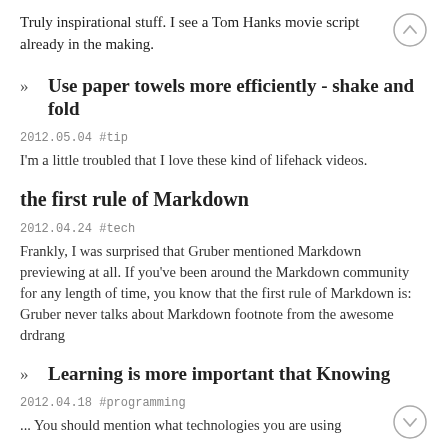Truly inspirational stuff. I see a Tom Hanks movie script already in the making.
Use paper towels more efficiently - shake and fold
2012.05.04 #tip
I'm a little troubled that I love these kind of lifehack videos.
the first rule of Markdown
2012.04.24 #tech
Frankly, I was surprised that Gruber mentioned Markdown previewing at all. If you've been around the Markdown community for any length of time, you know that the first rule of Markdown is: Gruber never talks about Markdown footnote from the awesome drdrang
Learning is more important that Knowing
2012.04.18 #programming
... You should mention what technologies you are using